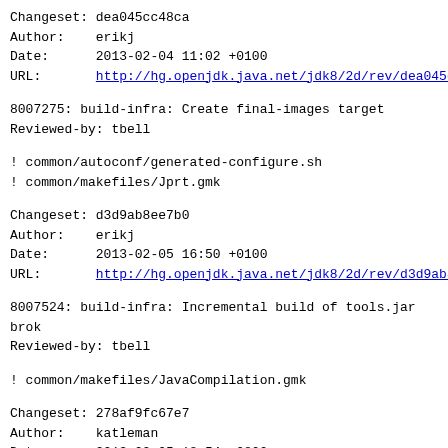Changeset: dea045cc48ca
Author:    erikj
Date:      2013-02-04 11:02 +0100
URL:       http://hg.openjdk.java.net/jdk8/2d/rev/dea045c
8007275: build-infra: Create final-images target
Reviewed-by: tbell
! common/autoconf/generated-configure.sh
! common/makefiles/Jprt.gmk
Changeset: d3d9ab8ee7b0
Author:    erikj
Date:      2013-02-05 16:50 +0100
URL:       http://hg.openjdk.java.net/jdk8/2d/rev/d3d9ab8
8007524: build-infra: Incremental build of tools.jar brok
Reviewed-by: tbell
! common/makefiles/JavaCompilation.gmk
Changeset: 278af9fc67e7
Author:    katleman
Date:      2013-02-05 18:54 -0800
URL:       http://hg.openjdk.java.net/jdk8/2d/rev/278af9f
Merge
Changeset: 3933eebc659d